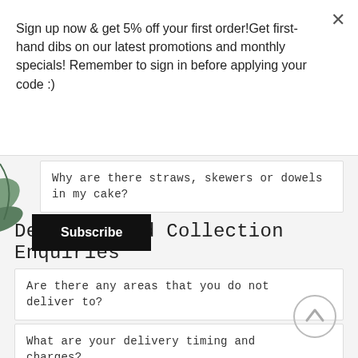Sign up now & get 5% off your first order!Get first-hand dibs on our latest promotions and monthly specials! Remember to sign in before applying your code :)
Subscribe
Why are there straws, skewers or dowels in my cake?
Delivery and Collection Enquiries
Are there any areas that you do not deliver to?
What are your delivery timing and charges?
What are your collection timings?